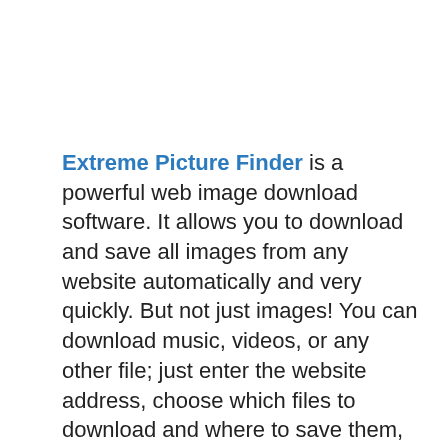Extreme Picture Finder is a powerful web image download software. It allows you to download and save all images from any website automatically and very quickly. But not just images! You can download music, videos, or any other file; just enter the website address, choose which files to download and where to save them, and let Extreme Picture Finder do the rest for you. And you can instantly view downloaded files in the built-in image viewer.
Extreme Picture Finder Portable the program can be configured to download images in bulk from password-protected websites, chat threads, and even social media...